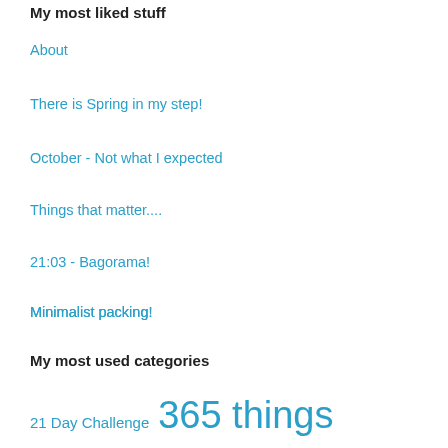My most liked stuff
About
There is Spring in my step!
October - Not what I expected
Things that matter....
21:03 - Bagorama!
Minimalist packing!
Digital Declutter - February
21 day challenge - Decluttering this time!
Life is like a roller coaster - dealing with chronic pain!
My most used categories
21 Day Challenge  365 things